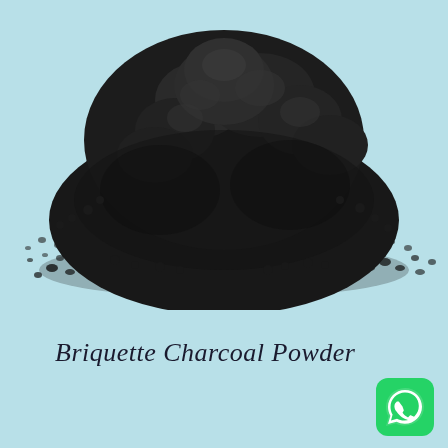[Figure (photo): A pile of black briquette charcoal powder on a light blue background. The powder forms a mound shape with scattered particles around the edges.]
Briquette Charcoal Powder
[Figure (logo): WhatsApp logo — green rounded square icon with white phone handset inside a speech bubble.]